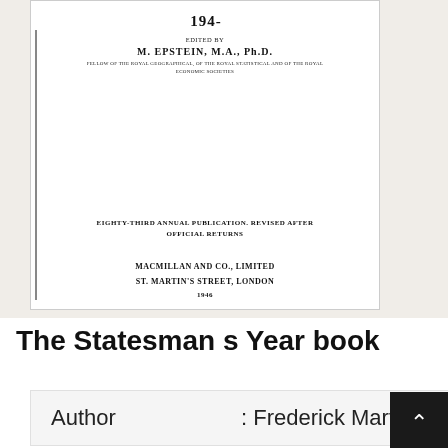[Figure (photo): Scanned title page of a book showing partial year (194-), edited by M. Epstein M.A. Ph.D., Fellow of the Royal Geographical, of the Royal Statistical and of the Royal Economic Societies. Eighty-third annual publication, revised after official returns. Published by Macmillan and Co., Limited, St. Martin's Street, London.]
The Statesman s Year book
| Field | Value |
| --- | --- |
| Author | : Frederick Martin |